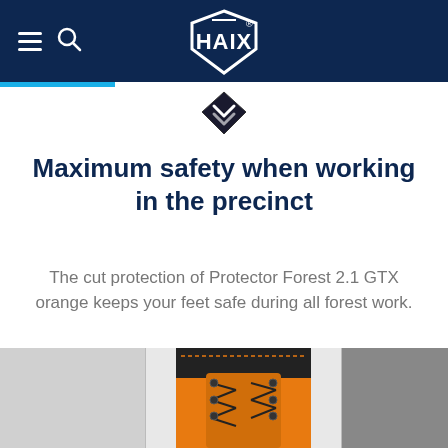HAIX website header with hamburger menu, search icon, and HAIX logo
Maximum safety when working in the precinct
The cut protection of Protector Forest 2.1 GTX orange keeps your feet safe during all forest work.
[Figure (photo): Close-up photo of an orange and black HAIX Protector Forest 2.1 GTX forestry boot with black laces, showing the upper boot detail. Partially visible grey-toned boots on left and right sides of the image.]